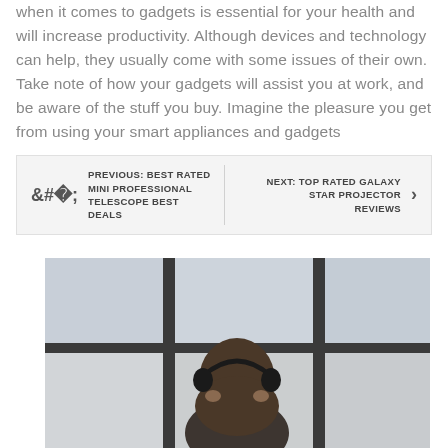when it comes to gadgets is essential for your health and will increase productivity. Although devices and technology can help, they usually come with some issues of their own. Take note of how your gadgets will assist you at work, and be aware of the stuff you buy. Imagine the pleasure you get from using your smart appliances and gadgets
PREVIOUS: BEST RATED MINI PROFESSIONAL TELESCOPE BEST DEALS | NEXT: TOP RATED GALAXY STAR PROJECTOR REVIEWS
[Figure (photo): Woman with headphones viewed from behind, looking out a large window with city view]